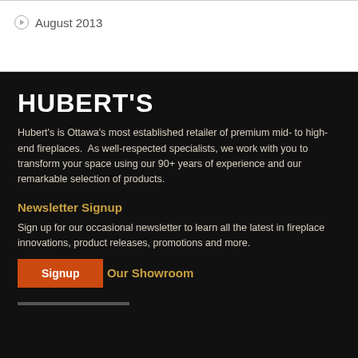August 2013
HUBERT'S
Hubert's is Ottawa's most established retailer of premium mid- to high-end fireplaces.  As well-respected specialists, we work with you to transform your space using our 90+ years of experience and our remarkable selection of products.
Newsletter Signup
Sign up for our occasional newsletter to learn all the latest in fireplace innovations, product releases, promotions and more.
Signup
Our Showroom